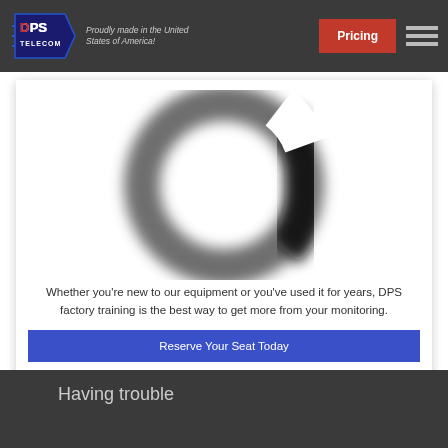DPS Telecom — Proudly made in the United States of America! | Pricing
[Figure (photo): A circular ring or loading spinner shape, blurred/soft focus, gray and black tones on white background]
Whether you're new to our equipment or you've used it for years, DPS factory training is the best way to get more from your monitoring.
Reserve Your Seat Today
Having trouble